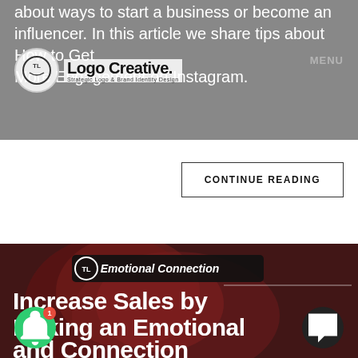about ways to start a business or become an influencer. In this article we share tips about How to Get More Engagement on Instagram.
Logo Creative. Strategic Logo & Brand Identity Design
CONTINUE READING
[Figure (photo): Article banner image showing red hearts on a wooden background with text overlay: 'Emotional Connection' badge and title 'Increase Sales by Making an Emotional and Connection']